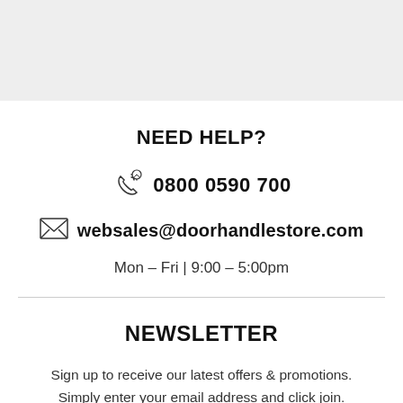NEED HELP?
0800 0590 700
websales@doorhandlestore.com
Mon – Fri | 9:00 – 5:00pm
NEWSLETTER
Sign up to receive our latest offers & promotions. Simply enter your email address and click join.